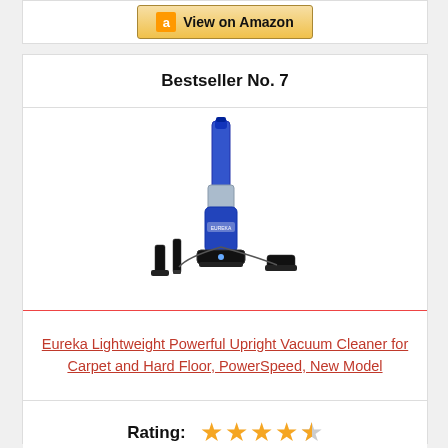[Figure (other): Amazon View on Amazon button (partial card at top)]
Bestseller No. 7
[Figure (photo): Eureka upright vacuum cleaner product photo with accessories (blue and black vacuum cleaner with 3 attachments shown at base)]
Eureka Lightweight Powerful Upright Vacuum Cleaner for Carpet and Hard Floor, PowerSpeed, New Model
Rating: ★★★★½